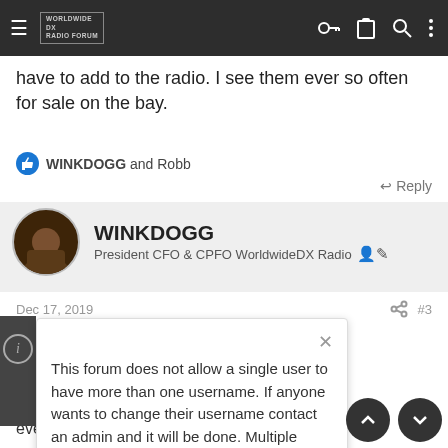WorldwideDX Radio Forum
have to add to the radio. I see them ever so often for sale on the bay.
WINKDOGG and Robb
Reply
WINKDOGG
President CFO & CPFO WorldwideDX Radio
Dec 17, 2019
#3
This forum does not allow a single user to have more than one username. If anyone wants to change their username contact an admin and it will be done. Multiple accounts belonging to the same member will be deleted without warning.
y talk back mod. it st thing you could radio th
ever so often for sale on the bay.